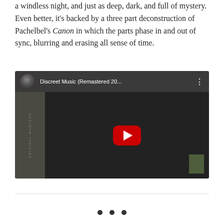a windless night, and just as deep, dark, and full of mystery. Even better, it's backed by a three part deconstruction of Pachelbel's Canon in which the parts phase in and out of sync, blurring and erasing all sense of time.
[Figure (screenshot): YouTube video embed showing 'Discreet Music (Remastered 20...)' with a play button in the center, dark thumbnail background, YouTube header with avatar icon and three-dot menu]